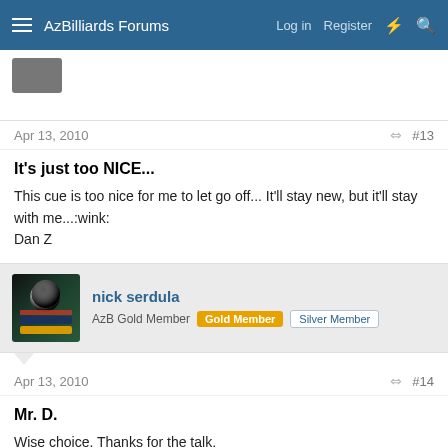AzBilliards Forums  Log in  Register
Apr 13, 2010  #13
It's just too NICE...

This cue is too nice for me to let go off... It'll stay new, but it'll stay with me...:wink:
Dan Z
nick serdula
AzB Gold Member  Gold Member  Silver Member
Apr 13, 2010  #14
Mr. D.

Wise choice. Thanks for the talk.
Nick 🙂